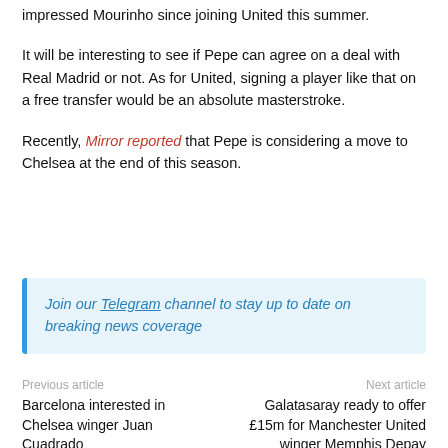impressed Mourinho since joining United this summer.
It will be interesting to see if Pepe can agree on a deal with Real Madrid or not. As for United, signing a player like that on a free transfer would be an absolute masterstroke.
Recently, Mirror reported that Pepe is considering a move to Chelsea at the end of this season.
Join our Telegram channel to stay up to date on breaking news coverage
Previous article
Next article
Barcelona interested in Chelsea winger Juan Cuadrado
Galatasaray ready to offer £15m for Manchester United winger Memphis Depay